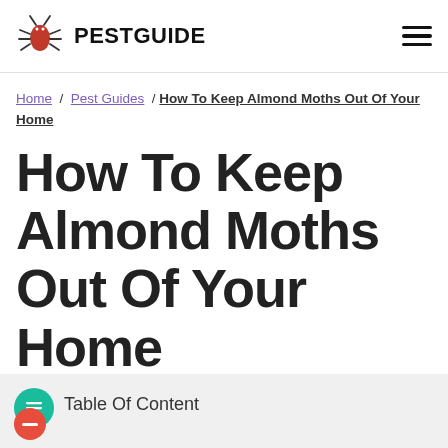PESTGUIDE
Home / Pest Guides / How To Keep Almond Moths Out Of Your Home
How To Keep Almond Moths Out Of Your Home
Table Of Content